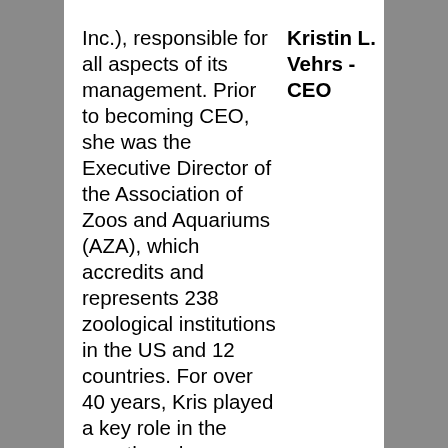Inc.), responsible for all aspects of its management. Prior to becoming CEO, she was the Executive Director of the Association of Zoos and Aquariums (AZA), which accredits and represents 238 zoological institutions in the US and 12 countries. For over 40 years, Kris played a key role in the growth and modernization of the zoological profession and AZA, including accreditation, professional development, animal management program, and ethics and bylaws. She
Kristin L. Vehrs - CEO